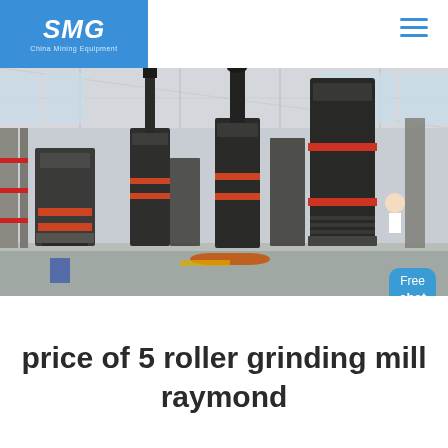SMG China Mining Equipment
[Figure (photo): Industrial factory floor showing large Raymond roller grinding mill machines in a wide warehouse with steel structure ceiling, multiple dark cylindrical mill units arranged in rows]
price of 5 roller grinding mill raymond